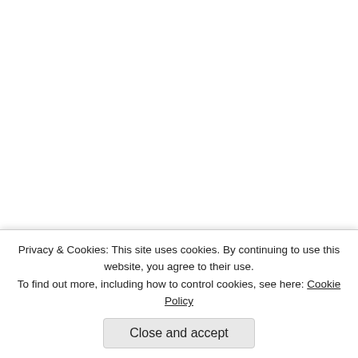“methodically erasing single-payer… enthusiastic collaboration of the c… compliant Democrats on The Hill stag… discussions” on health care from whic… excluded.
GOP Quo Vadis?
Is another spontaneous “people insurrection…
GOP govs plan Tea Party sequel
As Cheney Seizes Spotlight, Many Republ…
GOP Must Choose Purity or Parity
Torturegate
CIA Outsourced Development of Interrogati…
The torture practices used in interroga…
Privacy & Cookies: This site uses cookies. By continuing to use this website, you agree to their use. To find out more, including how to control cookies, see here: Cookie Policy
Close and accept